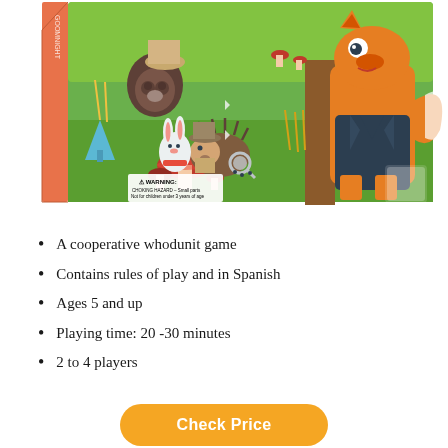[Figure (photo): A children's board game box featuring illustrated forest animals including a fox in a suit, a hedgehog with a magnifying glass, and a rabbit, with mushrooms and trees in the background. A choking hazard warning label is visible on the box.]
A cooperative whodunit game
Contains rules of play and in Spanish
Ages 5 and up
Playing time: 20 -30 minutes
2 to 4 players
Check Price